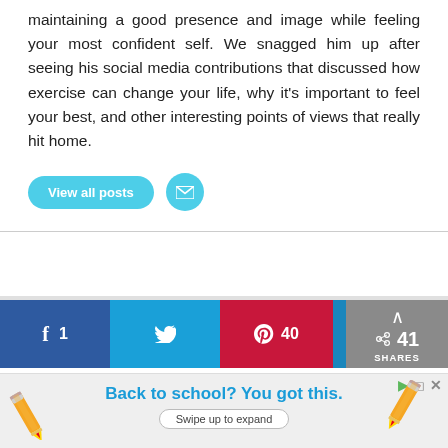maintaining a good presence and image while feeling your most confident self. We snagged him up after seeing his social media contributions that discussed how exercise can change your life, why it's important to feel your best, and other interesting points of views that really hit home.
View all posts
[Figure (screenshot): Social share bar with Facebook (1 share), Twitter, Pinterest (40 shares), and LinkedIn buttons, plus a share count of 41]
[Figure (infographic): Ad banner reading 'Back to school? You got this.' with pencil illustrations on left and right sides and a 'Swipe up to expand' pill button]